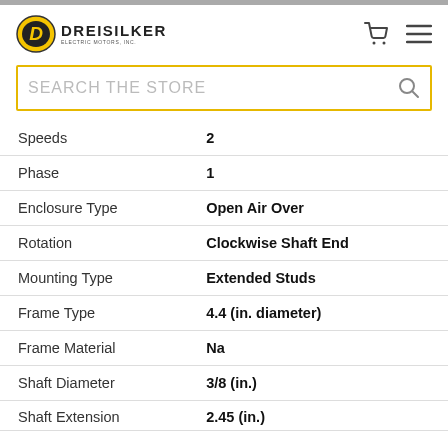[Figure (logo): Dreisilker Electric Motors Inc logo with yellow/black D icon]
| Attribute | Value |
| --- | --- |
| Speeds | 2 |
| Phase | 1 |
| Enclosure Type | Open Air Over |
| Rotation | Clockwise Shaft End |
| Mounting Type | Extended Studs |
| Frame Type | 4.4 (in. diameter) |
| Frame Material | Na |
| Shaft Diameter | 3/8 (in.) |
| Shaft Extension | 2.45 (in.) |